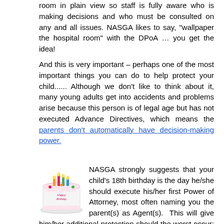room in plain view so staff is fully aware who is making decisions and who must be consulted on any and all issues. NASGA likes to say, "wallpaper the hospital room" with the DPoA … you get the idea!
And this is very important – perhaps one of the most important things you can do to help protect your child...... Although we don't like to think about it, many young adults get into accidents and problems arise because this person is of legal age but has not executed Advance Directives, which means the parents don't automatically have decision-making power.
[Figure (illustration): A birthday cake with candles and 'Happy Birthday' text on it, white frosting with colorful decorations]
NASGA strongly suggests that your child's 18th birthday is the day he/she should execute his/her first Power of Attorney, most often naming you the parent(s) as Agent(s). This will give him/her additional protection should the worst occur; and it will give you peace of mind as well.